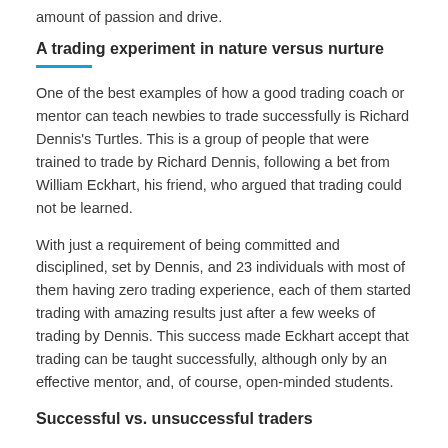amount of passion and drive.
A trading experiment in nature versus nurture
One of the best examples of how a good trading coach or mentor can teach newbies to trade successfully is Richard Dennis's Turtles. This is a group of people that were trained to trade by Richard Dennis, following a bet from William Eckhart, his friend, who argued that trading could not be learned.
With just a requirement of being committed and disciplined, set by Dennis, and 23 individuals with most of them having zero trading experience, each of them started trading with amazing results just after a few weeks of trading by Dennis. This success made Eckhart accept that trading can be taught successfully, although only by an effective mentor, and, of course, open-minded students.
Successful vs. unsuccessful traders